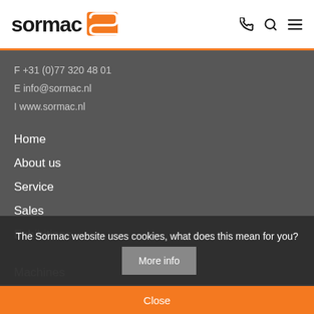[Figure (logo): Sormac logo with orange S icon in header, with phone, search, and menu icons on the right]
F +31 (0)77 320 48 01
E info@sormac.nl
I www.sormac.nl
Home
About us
Service
Sales
Exhibitions
Machines
The Sormac website uses cookies, what does this mean for you?
More info
Close